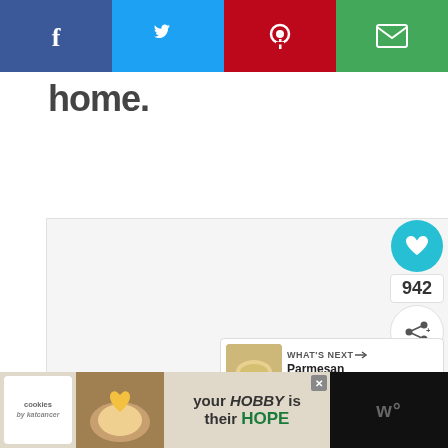[Figure (screenshot): Social share bar with four buttons: Facebook (dark blue), Twitter (light blue), Pinterest (red), Email (green)]
home.
[Figure (photo): Large white/light gray image placeholder area with three navigation dots at bottom]
[Figure (infographic): Floating action buttons: heart/like button (teal circle) with count 942 below, and share button (white circle)]
[Figure (screenshot): What's Next card showing thumbnail of Parmesan Italian Shrim... with arrow]
[Figure (screenshot): Bottom advertisement banner: cookies by katcancer - your HOBBY is their HOPE, with close button and site logo on right]